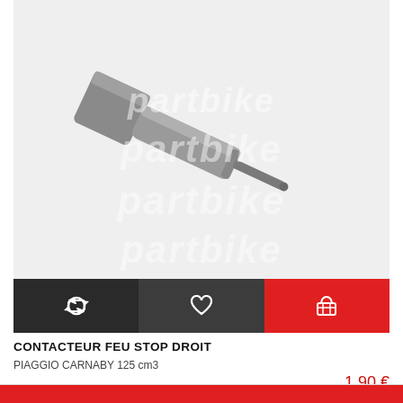[Figure (photo): A metal brake stop switch / contacteur feu stop droit component, cylindrical silver-gray metal part with hexagonal base and a thin stem, photographed on a light gray background with 'partbike' watermarks overlaid]
CONTACTEUR FEU STOP DROIT
PIAGGIO CARNABY 125 cm3
1,90 €